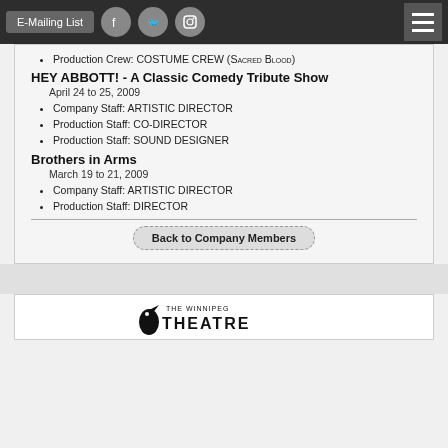E-Mailing List  [Facebook icon]  [Twitter icon]  [Instagram icon]  [Menu icon]
Production Crew: COSTUME CREW (Sacred Blood)
HEY ABBOTT! - A Classic Comedy Tribute Show
April 24 to 25, 2009
Company Staff: ARTISTIC DIRECTOR
Production Staff: CO-DIRECTOR
Production Staff: SOUND DESIGNER
Brothers in Arms
March 19 to 21, 2009
Company Staff: ARTISTIC DIRECTOR
Production Staff: DIRECTOR
Back to Company Members
[Figure (logo): The Winnipeg Theatre logo with bird silhouette]